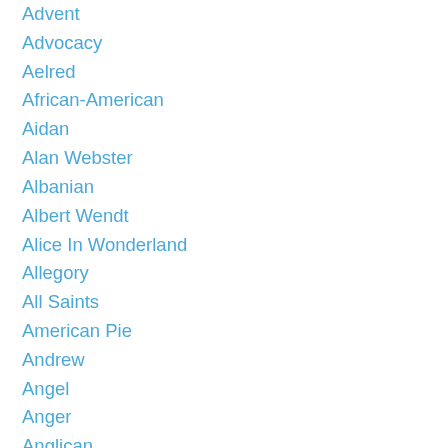Advent
Advocacy
Aelred
African-American
Aidan
Alan Webster
Albanian
Albert Wendt
Alice In Wonderland
Allegory
All Saints
American Pie
Andrew
Angel
Anger
Anglican
Anglican Method
Animals
Anna
Annunciation
Anoiniting